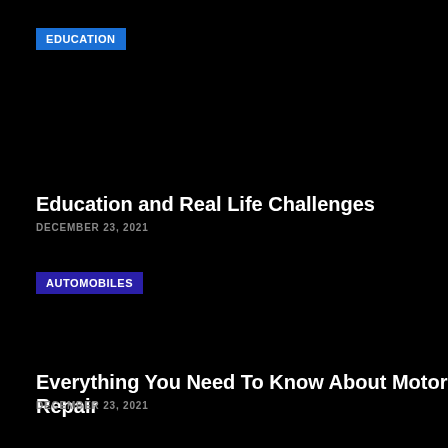EDUCATION
Education and Real Life Challenges
DECEMBER 23, 2021
AUTOMOBILES
Everything You Need To Know About Motor Repair
DECEMBER 23, 2021